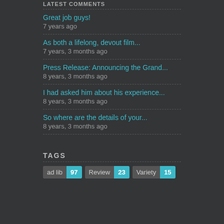LATEST COMMENTS
Great job guys!
7 years ago
As both a lifelong, devout film...
7 years, 3 months ago
Press Release: Announcing the Grand...
8 years, 3 months ago
I had asked him about his experience...
8 years, 3 months ago
So where are the details of your...
8 years, 3 months ago
TAGS
ad lib 97
Review 23
Variety 15